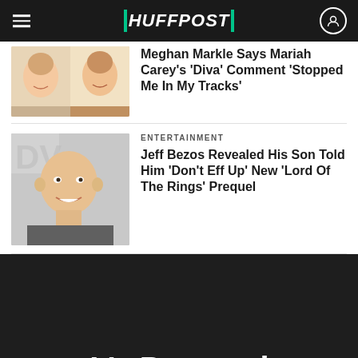HUFFPOST
[Figure (photo): Two women smiling, side by side portrait photos]
Meghan Markle Says Mariah Carey's 'Diva' Comment 'Stopped Me In My Tracks'
[Figure (photo): Jeff Bezos smiling in a suit at an event]
ENTERTAINMENT
Jeff Bezos Revealed His Son Told Him 'Don't Eff Up' New 'Lord Of The Rings' Prequel
It's Personal